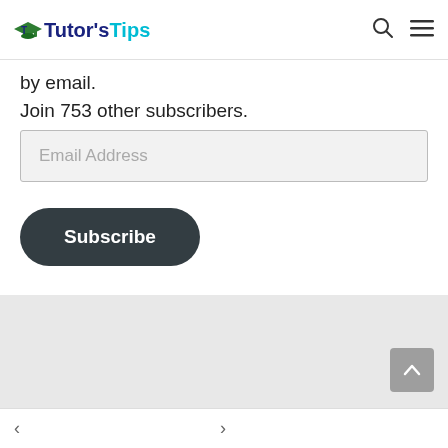Tutor's Tips
by email.
Join 753 other subscribers.
Email Address
Subscribe